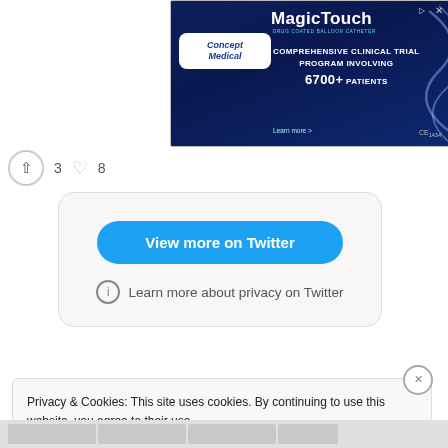[Figure (screenshot): Advertisement banner for Concept Medical MagicTouch drug-coated balloon catheter, featuring text 'MagicTouch COMPREHENSIVE CLINICAL TRIAL PROGRAM INVOLVING 6700+ PATIENTS' with CE1434 mark on a dark blue background]
3  8
[Figure (screenshot): Twitter embedded card with 'View more on Twitter' button and 'Learn more about privacy on Twitter' link]
Privacy & Cookies: This site uses cookies. By continuing to use this website, you agree to their use.
To find out more, including how to control cookies, see here: Cookie Policy
Close and accept